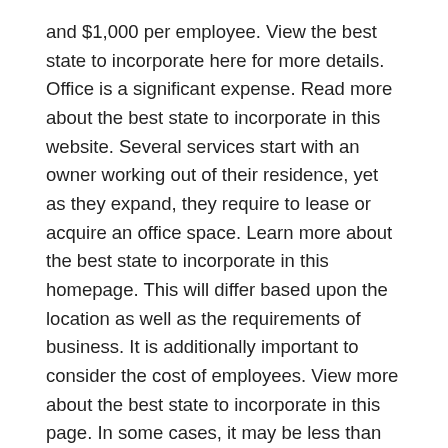and $1,000 per employee. View the best state to incorporate here for more details. Office is a significant expense. Read more about the best state to incorporate in this website. Several services start with an owner working out of their residence, yet as they expand, they require to lease or acquire an office space. Learn more about the best state to incorporate in this homepage. This will differ based upon the location as well as the requirements of business. It is additionally important to consider the cost of employees. View more about the best state to incorporate in this page. In some cases, it may be less than $100 per employee monthly. Check the best state to incorporate here for more info. In various other instances, the expense of office might be as high as $1,000 per month. Discover more about the best state to incorporate in this link. While the cost of beginning a company can be as little as $250, it is essential to consider the time commitments and also personal concerns. Check it out the best state to incorporate in this site. Once you have a clear